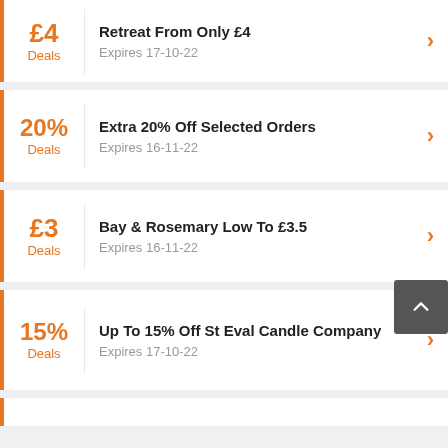£4 Deals — Retreat From Only £4 — Expires 17-10-22
20% Deals — Extra 20% Off Selected Orders — Expires 16-11-22
£3 Deals — Bay & Rosemary Low To £3.5 — Expires 16-11-22
15% Deals — Up To 15% Off St Eval Candle Company — Expires 17-10-22